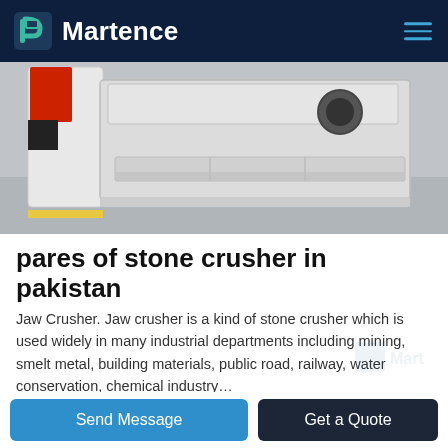Martence
[Figure (photo): Close-up photo of a white industrial stone crusher machine with red and black components, photographed in a factory setting.]
pares of stone crusher in pakistan
Jaw Crusher. Jaw crusher is a kind of stone crusher which is used widely in many industrial departments including mining, smelt metal, building materials, public road, railway, water conservation, chemical industry…
query@sinoftm.com